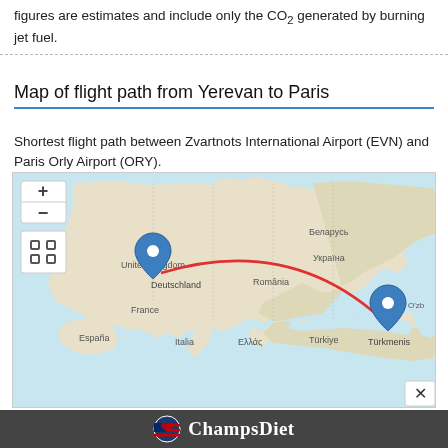figures are estimates and include only the CO2 generated by burning jet fuel.
Map of flight path from Yerevan to Paris
Shortest flight path between Zvartnots International Airport (EVN) and Paris Orly Airport (ORY).
[Figure (map): Map showing flight path from Paris Orly Airport (ORY) near France/Germany to Zvartnots International Airport (EVN) near Armenia, with a red curved line connecting the two blue map pins over Europe and Turkey.]
[Figure (infographic): Advertisement banner for ChampsDiet with a flag logo and the text ChampsDiet in white cursive on dark background.]